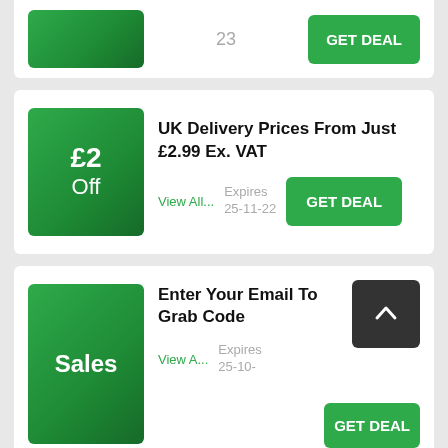23
GET DEAL
£2 Off
UK Delivery Prices From Just £2.99 Ex. VAT
View All...
Expires 25-11-22
GET DEAL
Sales
Enter Your Email To Grab Code
View A...
Expires 25-10-